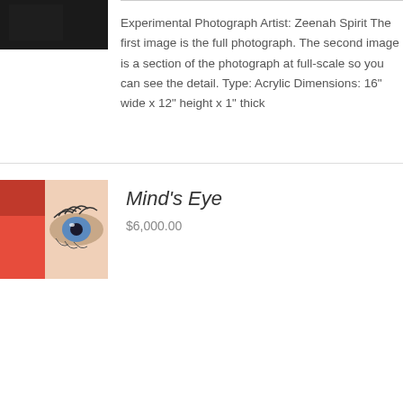[Figure (photo): Dark photograph, partially cropped, showing a dark background with partial face/subject]
Experimental Photograph Artist: Zeenah Spirit The first image is the full photograph. The second image is a section of the photograph at full-scale so you can see the detail. Type: Acrylic Dimensions: 16″ wide x 12″ height x 1″ thick
[Figure (photo): Close-up photograph of a blue eye with eyelashes, with red background element visible]
Mind’s Eye
$6,000.00